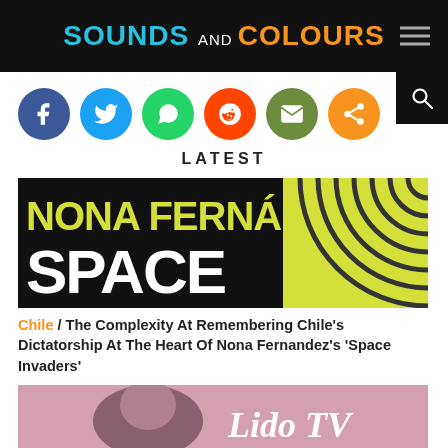SOUNDS and COLOURS
[Figure (other): Social media share buttons: Facebook, Twitter, WhatsApp, Reddit, Email, Share]
LATEST
[Figure (photo): Book cover for Nona Fernandez Space Invaders - black background with yellow bold text NONA FERNANDEZ and SPACE on the left, yellow concentric circles on the right]
Chile / The Complexity At Remembering Chile's Dictatorship At The Heart Of Nona Fernandez's 'Space Invaders'
[Figure (photo): Photo of a woman with dark hair, pink background, with Lido TV text overlay]